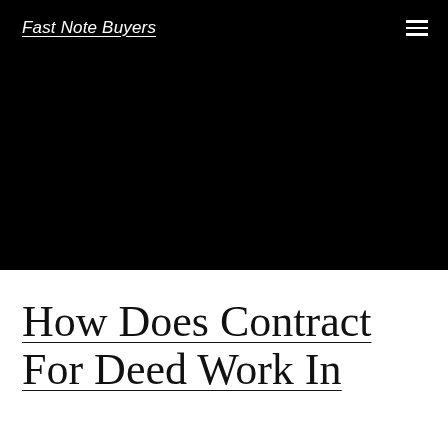Fast Note Buyers
How Does Contract For Deed Work In